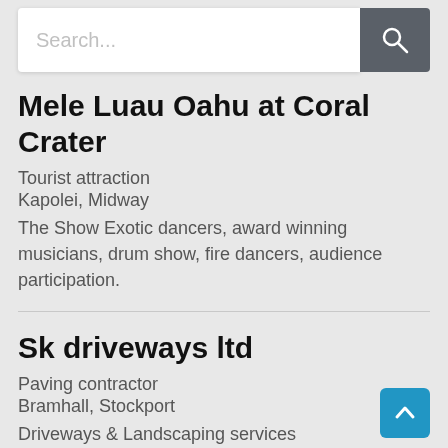[Figure (screenshot): Search bar with placeholder text 'Search...' and a dark grey search button with magnifier icon]
Mele Luau Oahu at Coral Crater
Tourist attraction
Kapolei, Midway
The Show Exotic dancers, award winning musicians, drum show, fire dancers, audience participation.
Sk driveways ltd
Paving contractor
Bramhall, Stockport
Driveways & Landscaping services